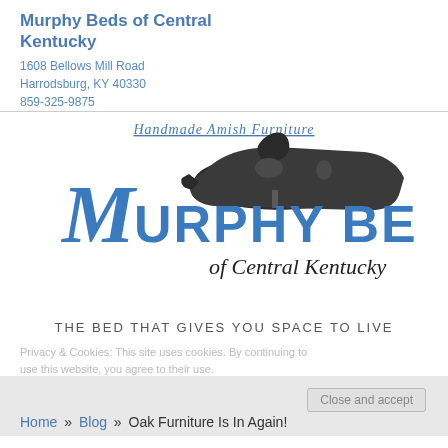Murphy Beds of Central Kentucky
1608 Bellows Mill Road
Harrodsburg, KY 40330
859-325-9875
[Figure (logo): Murphy Beds of Central Kentucky logo with a hand plane tool illustration, 'Handmade Amish Furniture' text, and tagline 'THE BED THAT GIVES YOU SPACE TO LIVE']
Privacy & Cookies: This site uses cookies. By continuing to use this website, you agree to their use.
To find out more, including how to control cookies, see here: Cookie Policy
Close and accept
Home » Blog » Oak Furniture Is In Again!